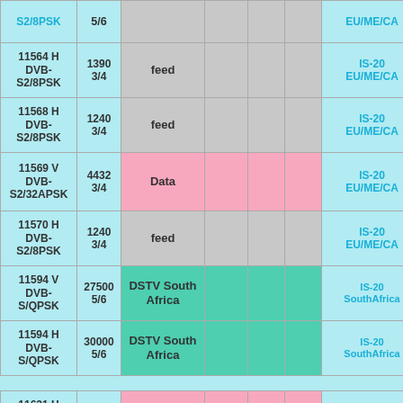| Frequency/Pol/System | SR/FEC | Content |  |  |  | Satellite/Beam |
| --- | --- | --- | --- | --- | --- | --- |
| S2/8PSK | 5/6 |  |  |  |  | EU/ME/CA |
| 11564 H DVB-S2/8PSK | 1390 3/4 | feed |  |  |  | IS-20 EU/ME/CA |
| 11568 H DVB-S2/8PSK | 1240 3/4 | feed |  |  |  | IS-20 EU/ME/CA |
| 11569 V DVB-S2/32APSK | 4432 3/4 | Data |  |  |  | IS-20 EU/ME/CA |
| 11570 H DVB-S2/8PSK | 1240 3/4 | feed |  |  |  | IS-20 EU/ME/CA |
| 11594 V DVB-S/QPSK | 27500 5/6 | DSTV South Africa |  |  |  | IS-20 SouthAfrica |
| 11594 H DVB-S/QPSK | 30000 5/6 | DSTV South Africa |  |  |  | IS-20 SouthAfrica |
| 11631 H DVB-S2/QPSK | 14258 7/8 | Data |  |  |  | IS-20 EU/ME/CA |
| 11634 V DVB- | 30000 | DSTV South |  |  |  | IS-20 |